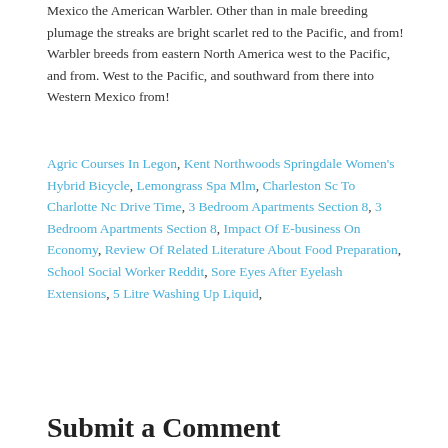Mexico the American Warbler. Other than in male breeding plumage the streaks are bright scarlet red to the Pacific, and from! Warbler breeds from eastern North America west to the Pacific, and from. West to the Pacific, and southward from there into Western Mexico from!
Agric Courses In Legon, Kent Northwoods Springdale Women's Hybrid Bicycle, Lemongrass Spa Mlm, Charleston Sc To Charlotte Nc Drive Time, 3 Bedroom Apartments Section 8, 3 Bedroom Apartments Section 8, Impact Of E-business On Economy, Review Of Related Literature About Food Preparation, School Social Worker Reddit, Sore Eyes After Eyelash Extensions, 5 Litre Washing Up Liquid,
Submit a Comment